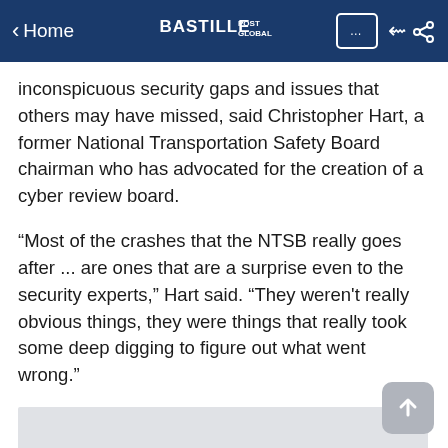< Home | BASTILLE POST GLOBAL
inconspicuous security gaps and issues that others may have missed, said Christopher Hart, a former National Transportation Safety Board chairman who has advocated for the creation of a cyber review board.
“Most of the crashes that the NTSB really goes after ... are ones that are a surprise even to the security experts,” Hart said. “They weren't really obvious things, they were things that really took some deep digging to figure out what went wrong.”
[Figure (other): Gray advertisement or image placeholder box]
YOU MAY LIKE
Arizona executes inmate for 1984 killing 8-year-old girl